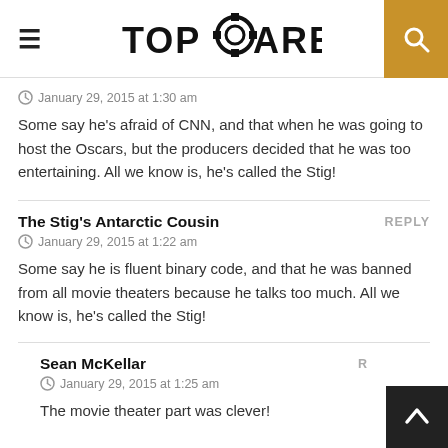TopGearbox
January 29, 2015 at 1:30 am
Some say he's afraid of CNN, and that when he was going to host the Oscars, but the producers decided that he was too entertaining. All we know is, he's called the Stig!
The Stig's Antarctic Cousin
January 29, 2015 at 1:22 am
Some say he is fluent binary code, and that he was banned from all movie theaters because he talks too much. All we know is, he's called the Stig!
Sean McKellar
January 29, 2015 at 1:25 am
The movie theater part was clever!